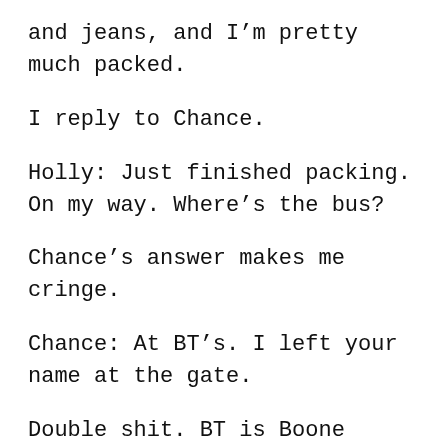and jeans, and I'm pretty much packed.
I reply to Chance.
Holly: Just finished packing. On my way. Where's the bus?
Chance's answer makes me cringe.
Chance: At BT's. I left your name at the gate.
Double shit. BT is Boone Thrasher—the headliner of the tour I'm currently on. His place isn't in one of those fancy